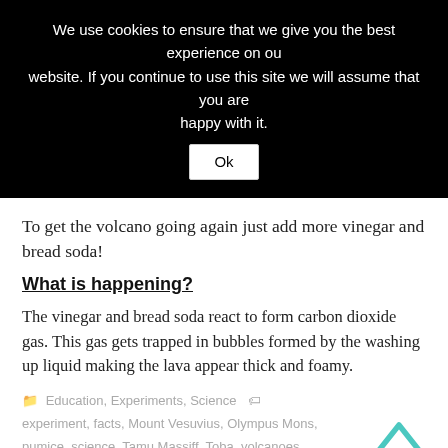We use cookies to ensure that we give you the best experience on our website. If you continue to use this site we will assume that you are happy with it.
To get the volcano going again just add more vinegar and bread soda!
What is happening?
The vinegar and bread soda react to form carbon dioxide gas. This gas gets trapped in bubbles formed by the washing up liquid making the lava appear thick and foamy.
Education, Experiments, Science  experiment, facts, Mount Vesuvius, Olympus Mons, pumice, science, Tamu Massiff, Toba, volcanoes
1 Comment